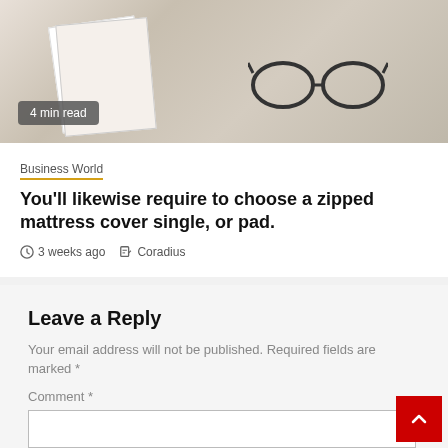[Figure (photo): Photo of a book and glasses on a white surface]
4 min read
Business World
You'll likewise require to choose a zipped mattress cover single, or pad.
3 weeks ago   Coradius
Leave a Reply
Your email address will not be published. Required fields are marked *
Comment *